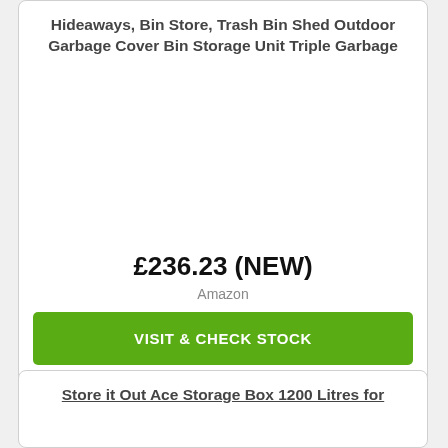Hideaways, Bin Store, Trash Bin Shed Outdoor Garbage Cover Bin Storage Unit Triple Garbage
£236.23 (NEW)
Amazon
VISIT & CHECK STOCK
Store it Out Ace Storage Box 1200 Litres for